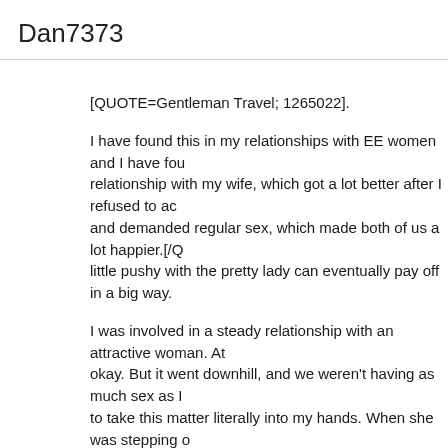Dan7373
[QUOTE=Gentleman Travel; 1265022].
I have found this in my relationships with EE women and I have fou relationship with my wife, which got a lot better after I refused to ac and demanded regular sex, which made both of us a lot happier.[/Q little pushy with the pretty lady can eventually pay off in a big way.
I was involved in a steady relationship with an attractive woman. At okay. But it went downhill, and we weren't having as much sex as I to take this matter literally into my hands. When she was stepping o other side of the bed, I grabbed her pussy through her panties and was an opportunity I couldn't resist, because her legs were spread say anything in response and just lay down on the bed with her bac thinking twice, I quickly reached between her legs, plunged my har spread her pussy-lips, found her clitoris and started masturbating it pussy-lips. Then all of a sudden I heard a loud slap and felt pain or Apparently, my pretty lady slapped my hand real hard as a way of s
I didn't know she could be so strong. Her slap on my hand was pai remove my hand from her pussy I certainly did. I was upset about i morning I was ready to leave her. But she took my hand and rubbe pussy. And such persuasion from her I couldn't resist. I grabbed he pants. She spread her legs to let me feel her pussy. And I proceede right through her pants with a firm hand, until she shuddered in wha reasonable orgasm.